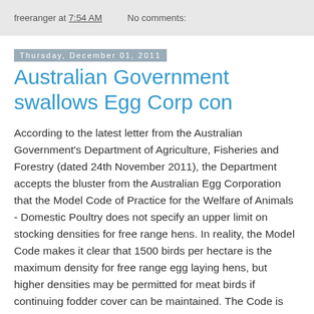freeranger at 7:54 AM   No comments:
Thursday, December 01, 2011
Australian Government swallows Egg Corp con
According to the latest letter from the Australian Government's Department of Agriculture, Fisheries and Forestry (dated 24th November 2011), the Department accepts the bluster from the Australian Egg Corporation that the Model Code of Practice for the Welfare of Animals - Domestic Poultry does not specify an upper limit on stocking densities for free range hens. In reality, the Model Code makes it clear that 1500 birds per hectare is the maximum density for free range egg laying hens, but higher densities may be permitted for meat birds if continuing fodder cover can be maintained. The Code is perfectly clear. A maximum density of 1500 birds per hectare is in place for egg laying hens designated as 'free range'. That has been used as the